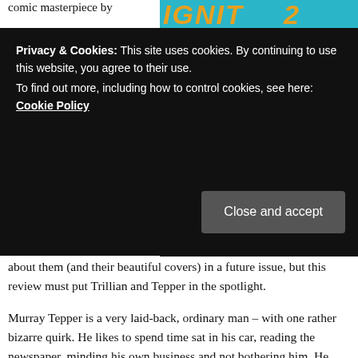comic masterpiece by
[Figure (illustration): Book cover top portion showing stylized orange/teal text partially visible]
Privacy & Cookies: This site uses cookies. By continuing to use this website, you agree to their use.
To find out more, including how to control cookies, see here: Cookie Policy
[Close and accept button]
[Figure (illustration): Book cover illustration: Fox, Finch & Tepper. A person reclines on a white car near a yellow fire hydrant against a teal city background.]
about them (and their beautiful covers) in a future issue, but this review must put Trillian and Tepper in the spotlight.
Murray Tepper is a very laid-back, ordinary man – with one rather bizarre quirk. He likes to spend time sat in his car, reading the newspaper, minding his own business and not bothering him. He parks his car in various spots around New